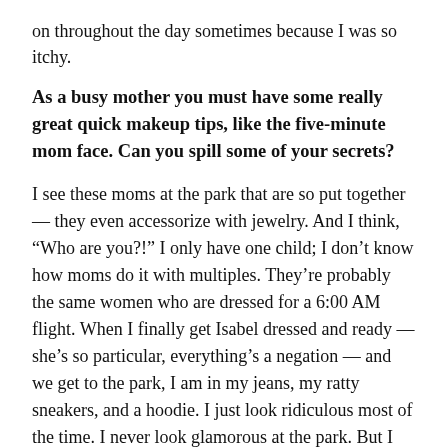on throughout the day sometimes because I was so itchy.
As a busy mother you must have some really great quick makeup tips, like the five-minute mom face. Can you spill some of your secrets?
I see these moms at the park that are so put together — they even accessorize with jewelry. And I think, “Who are you?!” I only have one child; I don’t know how moms do it with multiples. They’re probably the same women who are dressed for a 6:00 AM flight. When I finally get Isabel dressed and ready — she’s so particular, everything’s a negation — and we get to the park, I am in my jeans, my ratty sneakers, and a hoodie. I just look ridiculous most of the time. I never look glamorous at the park. But I have a mud bench by the front door for Isabel’s things, and I also have a tiny little basket for lip gloss, sunscreen, and a little